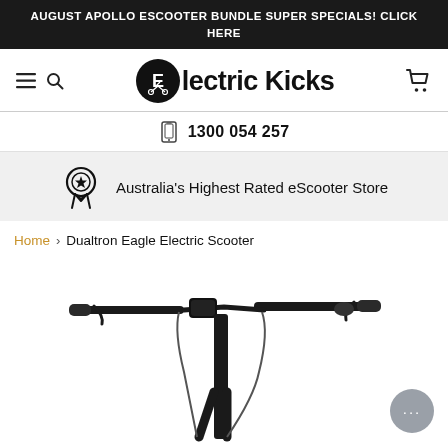AUGUST APOLLO ESCOOTER BUNDLE SUPER SPECIALS! CLICK HERE
[Figure (logo): Electric Kicks logo with circular scooter icon and wordmark]
1300 054 257
Australia's Highest Rated eScooter Store
Home > Dualtron Eagle Electric Scooter
[Figure (photo): Dualtron Eagle electric scooter handlebar and stem section, black, shown from front-left angle on white background]